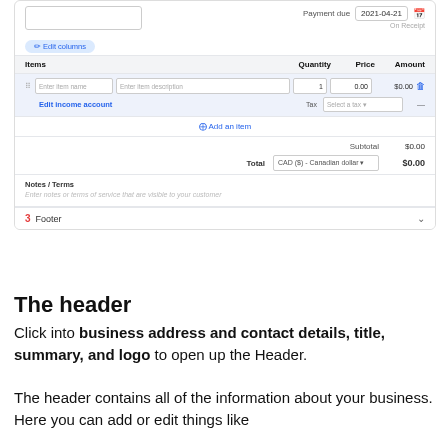[Figure (screenshot): Invoice creation UI screenshot showing items table with columns for Items, Quantity, Price, and Amount. Shows an empty item row with placeholder text, Edit income account link, Tax selector, Add an item button, Subtotal $0.00, Total CAD ($) Canadian dollar $0.00, Notes/Terms area, and a Footer section bar labeled 3.]
The header
Click into business address and contact details, title, summary, and logo to open up the Header.
The header contains all of the information about your business. Here you can add or edit things like